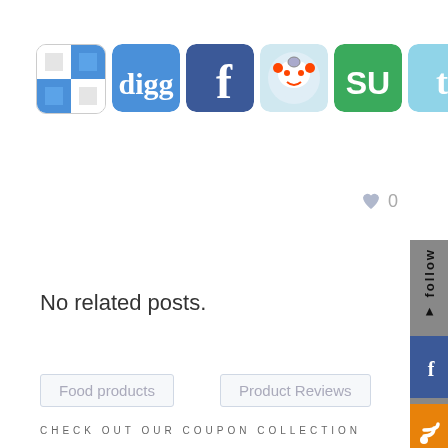[Figure (infographic): Row of social media sharing icons: ShareThis (checkered), Digg, Facebook, Reddit, StumbleUpon, Twitter, RSS feed]
0
[Figure (infographic): Right sidebar with 'follow' label, Facebook icon, and RSS icon]
No related posts.
Food products
Product Reviews
CHECK OUT OUR COUPON COLLECTION